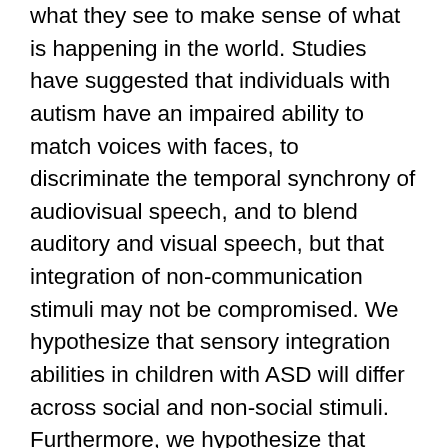what they see to make sense of what is happening in the world. Studies have suggested that individuals with autism have an impaired ability to match voices with faces, to discriminate the temporal synchrony of audiovisual speech, and to blend auditory and visual speech, but that integration of non-communication stimuli may not be compromised. We hypothesize that sensory integration abilities in children with ASD will differ across social and non-social stimuli. Furthermore, we hypothesize that there will also be differences in the neural signals in a communication relevant brain region, the ventral prefrontal cortex, during the perception and integration of social and non-social audiovisual stimuli. In our first aim we will (1) determine the relationship between social and non-social audiovisual stimuli and audiovisual integration abilities in autism. This will be achieved through a series of behavioral studies in a sample of